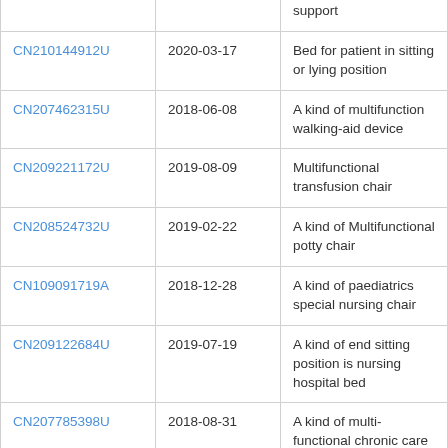| Patent Number | Date | Description |
| --- | --- | --- |
|  |  | support |
| CN210144912U | 2020-03-17 | Bed for patient in sitting or lying position |
| CN207462315U | 2018-06-08 | A kind of multifunction walking-aid device |
| CN209221172U | 2019-08-09 | Multifunctional transfusion chair |
| CN208524732U | 2019-02-22 | A kind of Multifunctional potty chair |
| CN109091719A | 2018-12-28 | A kind of paediatrics special nursing chair |
| CN209122684U | 2019-07-19 | A kind of end sitting position is nursing hospital bed |
| CN207785398U | 2018-08-31 | A kind of multi-functional chronic care frame in community |
| CN205913474U | 2017-02-01 | Multi -purpose toilet seat chair |